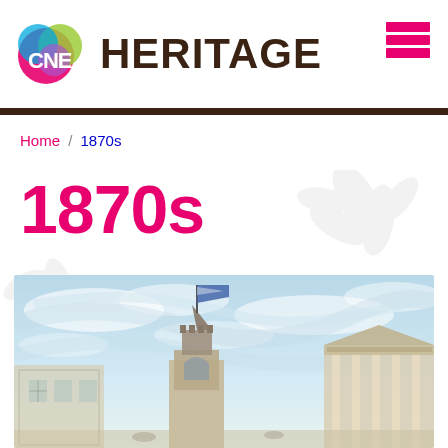CNE HERITAGE
Home / 1870s
1870s
[Figure (illustration): Historical illustration/painting of a Victorian-era building with a clock tower and flag, rendered in watercolour style with blue sky and clouds]